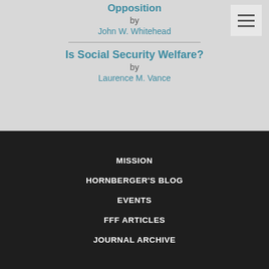Opposition
by
John W. Whitehead
Is Social Security Welfare?
by
Laurence M. Vance
MISSION
HORNBERGER'S BLOG
EVENTS
FFF ARTICLES
JOURNAL ARCHIVE